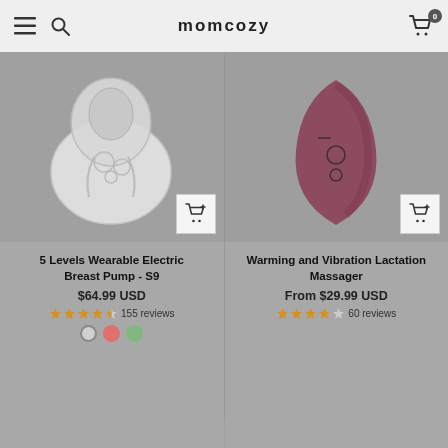momcozy
[Figure (photo): 5 Levels Wearable Electric Breast Pump S9 product image on gray background]
5 Levels Wearable Electric Breast Pump - S9
$64.99 USD
155 reviews
[Figure (photo): Warming and Vibration Lactation Massager product image in mauve/pink color on gray background]
Warming and Vibration Lactation Massager
From $29.99 USD
60 reviews